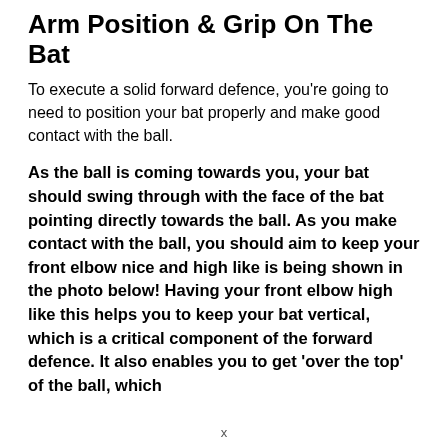Arm Position & Grip On The Bat
To execute a solid forward defence, you're going to need to position your bat properly and make good contact with the ball.
As the ball is coming towards you, your bat should swing through with the face of the bat pointing directly towards the ball. As you make contact with the ball, you should aim to keep your front elbow nice and high like is being shown in the photo below! Having your front elbow high like this helps you to keep your bat vertical, which is a critical component of the forward defence. It also enables you to get 'over the top' of the ball, which
x